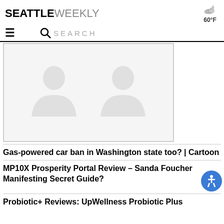SEATTLE WEEKLY
60°F
≡   🔍 SEARCH
[Figure (illustration): Placeholder image with two faded silhouettes of people, light gray on white background, suggesting a meeting or interview scene.]
Gas-powered car ban in Washington state too? | Cartoon
MP10X Prosperity Portal Review – Sanda Foucher Manifesting Secret Guide?
Probiotic+ Reviews: UpWellness Probiotic Plus